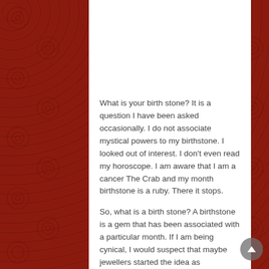What is your birth stone? It is a question I have been asked occasionally. I do not associate mystical powers to my birthstone. I looked out of interest. I don't even read my horoscope. I am aware that I am a cancer The Crab and my month birthstone is a ruby. There it stops.
So, what is a birth stone? A birthstone is a gem that has been associated with a particular month. If I am being cynical, I would suspect that maybe jewellers started the idea as birthstones are often worn as jewellery and given as gifts. As you will see below there are various ways to wear your birth stone.
Recently, I discovered that there are days of the week birthstones, so if you don't like your